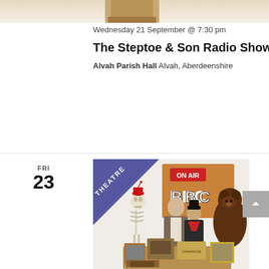[Figure (photo): Partial image at top of page, cut off]
Wednesday 21 September @ 7:30 pm
The Steptoe & Son Radio Show
Alvah Parish Hall Alvah, Aberdeenshire
FRI
23
[Figure (photo): Promotional image for The Steptoe & Son Radio Show. Features two actors in costume (younger man in brown coat, older man in black with red neckerchief and black hat), a skeleton with a red fez, a large brown bear, and various props including BBC 'ON AIR' sign, old radio equipment, books, champagne crate, and framed pictures. A blue triangle badge with 'THEATRE' text overlays the top-left corner.]